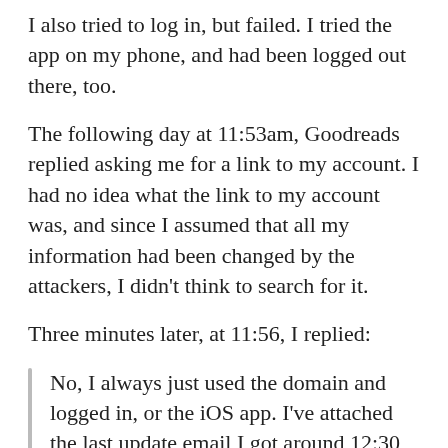I also tried to log in, but failed. I tried the app on my phone, and had been logged out there, too.
The following day at 11:53am, Goodreads replied asking me for a link to my account. I had no idea what the link to my account was, and since I assumed that all my information had been changed by the attackers, I didn’t think to search for it.
Three minutes later, at 11:56, I replied:
No, I always just used the domain and logged in, or the iOS app. I’ve attached the last update email I got around 12:30 EST yesterday, in case that helps. I’ve also